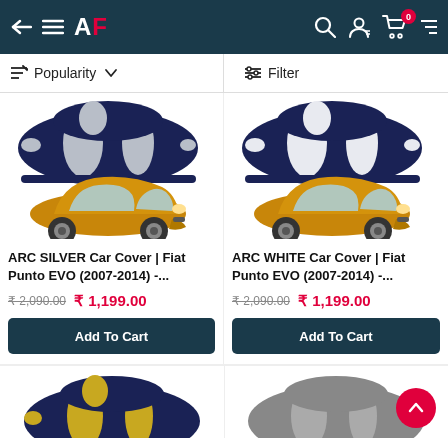AF — Navigation bar with back, menu, logo, search, account, cart (0)
Popularity ↓  Filter
[Figure (photo): ARC SILVER Car Cover with blue and silver stripes over a yellow Fiat Punto EVO]
ARC SILVER Car Cover | Fiat Punto EVO (2007-2014) -...
₹ 2,090.00  ₹ 1,199.00
Add To Cart
[Figure (photo): ARC WHITE Car Cover with blue and white stripes over a yellow Fiat Punto EVO]
ARC WHITE Car Cover | Fiat Punto EVO (2007-2014) -...
₹ 2,090.00  ₹ 1,199.00
Add To Cart
[Figure (photo): Partial view of another car cover with blue and yellow stripes]
[Figure (photo): Partial view of a grey car cover]